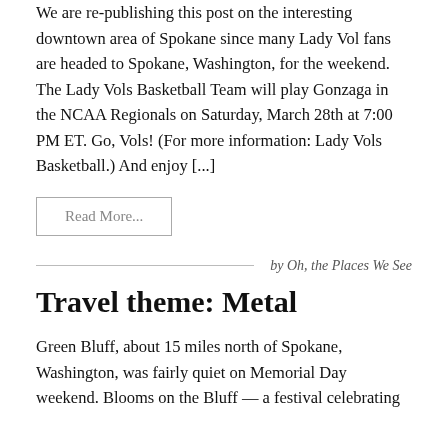We are re-publishing this post on the interesting downtown area of Spokane since many Lady Vol fans are headed to Spokane, Washington, for the weekend.  The Lady Vols Basketball Team will play Gonzaga in the NCAA Regionals on Saturday, March 28th at 7:00 PM ET.  Go, Vols!  (For more information:  Lady Vols Basketball.) And enjoy [...]
Read More...
by Oh, the Places We See
Travel theme: Metal
Green Bluff, about 15 miles north of Spokane, Washington, was fairly quiet on Memorial Day weekend.  Blooms on the Bluff — a festival celebrating